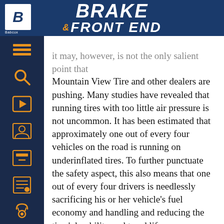BRAKE & FRONT END
Mountain View Tire and other dealers are pushing. Many studies have revealed that running tires with too little air pressure is not uncommon. It has been estimated that approximately one out of every four vehicles on the road is running on underinflated tires. To further punctuate the safety aspect, this also means that one out of every four drivers is needlessly sacrificing his or her vehicle's fuel economy and handling and reducing the tires' durability and tread life.
And, in these times of fast-rising gas prices, keeping tires inflated to proper levels is not only a safety concern, but an economical one, too. Monitoring tire pressure to keep tires at recommended levels also helps with improved